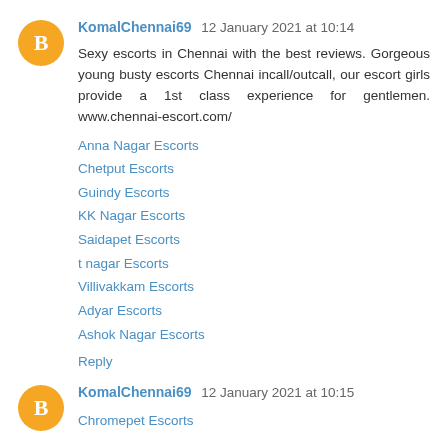KomalChennai69  12 January 2021 at 10:14
Sexy escorts in Chennai with the best reviews. Gorgeous young busty escorts Chennai incall/outcall, our escort girls provide a 1st class experience for gentlemen. www.chennai-escort.com/
Anna Nagar Escorts
Chetput Escorts
Guindy Escorts
KK Nagar Escorts
Saidapet Escorts
t nagar Escorts
Villivakkam Escorts
Adyar Escorts
Ashok Nagar Escorts
Reply
KomalChennai69  12 January 2021 at 10:15
Chromepet Escorts